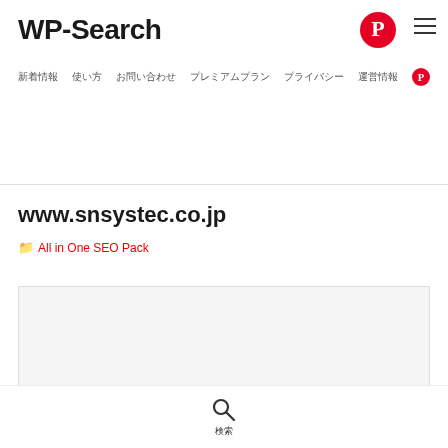WP-Search
www.snsystec.co.jp
📁 All in One SEO Pack
[Figure (screenshot): White/light gray rectangular image placeholder box]
検索